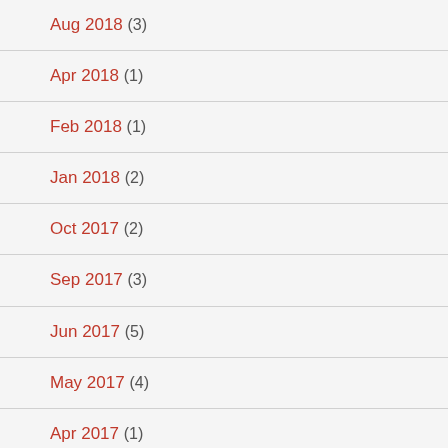Aug 2018 (3)
Apr 2018 (1)
Feb 2018 (1)
Jan 2018 (2)
Oct 2017 (2)
Sep 2017 (3)
Jun 2017 (5)
May 2017 (4)
Apr 2017 (1)